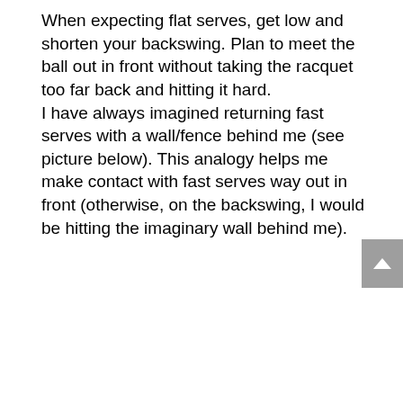When expecting flat serves, get low and shorten your backswing. Plan to meet the ball out in front without taking the racquet too far back and hitting it hard. I have always imagined returning fast serves with a wall/fence behind me (see picture below). This analogy helps me make contact with fast serves way out in front (otherwise, on the backswing, I would be hitting the imaginary wall behind me).